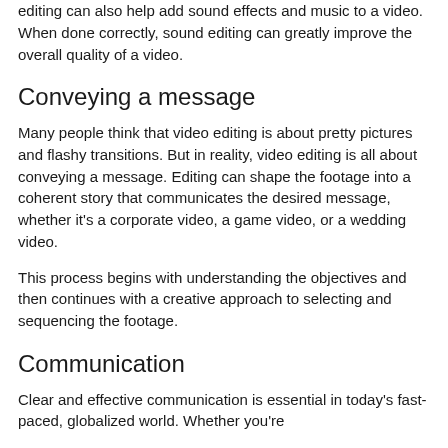editing can also help add sound effects and music to a video. When done correctly, sound editing can greatly improve the overall quality of a video.
Conveying a message
Many people think that video editing is about pretty pictures and flashy transitions. But in reality, video editing is all about conveying a message. Editing can shape the footage into a coherent story that communicates the desired message, whether it's a corporate video, a game video, or a wedding video.
This process begins with understanding the objectives and then continues with a creative approach to selecting and sequencing the footage.
Communication
Clear and effective communication is essential in today's fast-paced, globalized world. Whether you're